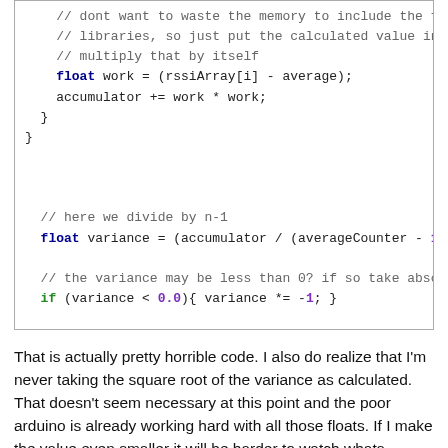[Figure (screenshot): Code snippet showing C/C++ Arduino code for computing variance from an RSSI array, with syntax highlighting (keywords in bold blue, green for 'if', purple for numeric literals, gray for comments).]
That is actually pretty horrible code. I also do realize that I'm never taking the square root of the variance as calculated. That doesn't seem necessary at this point and the poor arduino is already working hard with all those floats. If I make the value even smaller it will be harder to watch whats